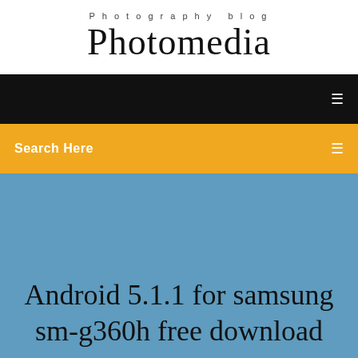Photography blog
Photomedia
Search Here
Android 5.1.1 for samsung sm-g360h free download